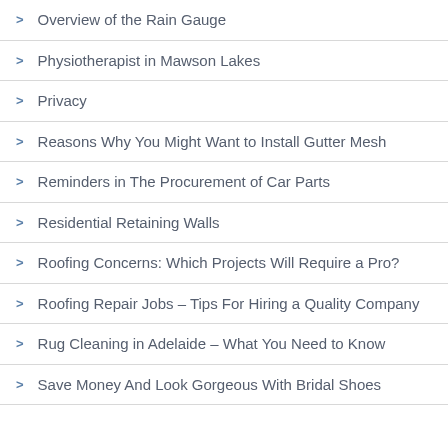Overview of the Rain Gauge
Physiotherapist in Mawson Lakes
Privacy
Reasons Why You Might Want to Install Gutter Mesh
Reminders in The Procurement of Car Parts
Residential Retaining Walls
Roofing Concerns: Which Projects Will Require a Pro?
Roofing Repair Jobs – Tips For Hiring a Quality Company
Rug Cleaning in Adelaide – What You Need to Know
Save Money And Look Gorgeous With Bridal Shoes